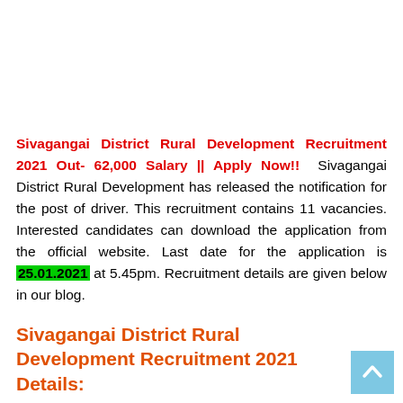Sivagangai District Rural Development Recruitment 2021 Out- 62,000 Salary || Apply Now!! Sivagangai District Rural Development has released the notification for the post of driver. This recruitment contains 11 vacancies. Interested candidates can download the application from the official website. Last date for the application is 25.01.2021 at 5.45pm. Recruitment details are given below in our blog.
Sivagangai District Rural Development Recruitment 2021 Details: